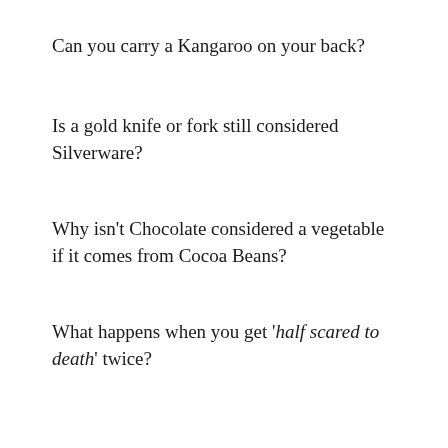Can you carry a Kangaroo on your back?
Is a gold knife or fork still considered Silverware?
Why isn't Chocolate considered a vegetable if it comes from Cocoa Beans?
What happens when you get 'half scared to death' twice?